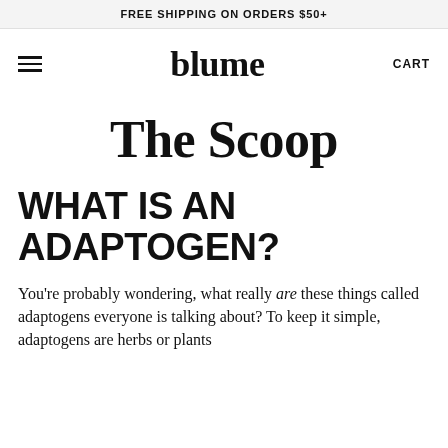FREE SHIPPING ON ORDERS $50+
blume  CART
The Scoop
WHAT IS AN ADAPTOGEN?
You're probably wondering, what really are these things called adaptogens everyone is talking about? To keep it simple, adaptogens are herbs or plants